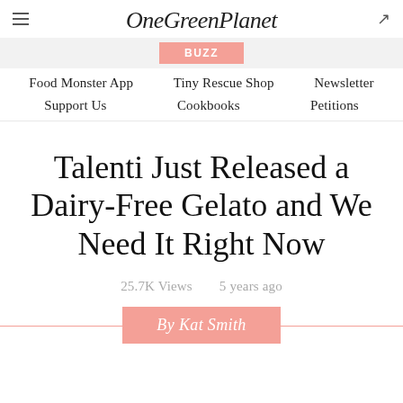OneGreenPlanet
BUZZ
Food Monster App  Tiny Rescue Shop  Newsletter  Support Us  Cookbooks  Petitions
Talenti Just Released a Dairy-Free Gelato and We Need It Right Now
25.7K Views    5 years ago
By Kat Smith